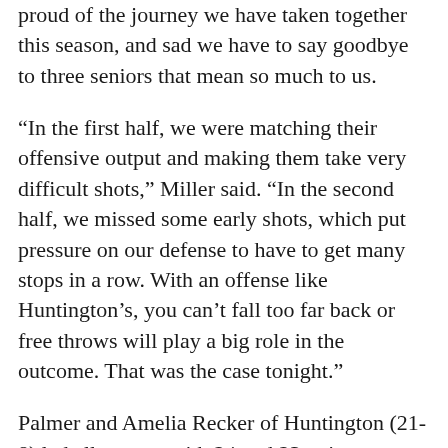proud of the journey we have taken together this season, and sad we have to say goodbye to three seniors that mean so much to us.
“In the first half, we were matching their offensive output and making them take very difficult shots,” Miller said. “In the second half, we missed some early shots, which put pressure on our defense to have to get many stops in a row. With an offense like Huntington’s, you can’t fall too far back or free throws will play a big role in the outcome. That was the case tonight.”
Palmer and Amelia Recker of Huntington (21-8) led all scorers with 24 and 23 points, respectively, Goshen’s Keshia Ward, first-